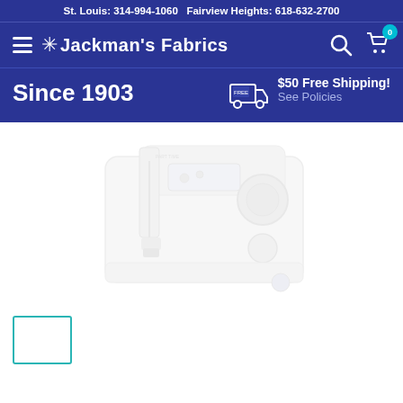St. Louis: 314-994-1060 Fairview Heights: 618-632-2700
[Figure (logo): Jackman's Fabrics logo with snowflake icon, hamburger menu, search icon, and cart icon with 0 badge]
Since 1903
$50 Free Shipping! See Policies
[Figure (photo): A white sewing machine shown from the front, faded/low opacity product image]
[Figure (other): Thumbnail image selector box with teal border, partially visible at bottom of page]